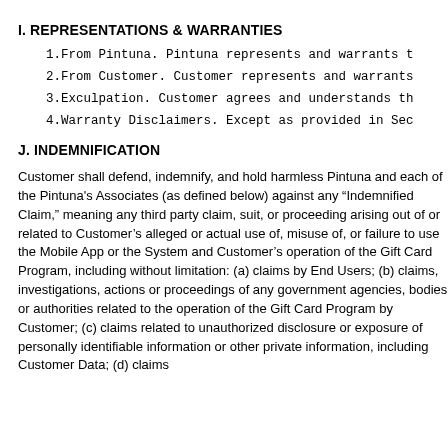I. REPRESENTATIONS & WARRANTIES
1. From Pintuna. Pintuna represents and warrants t
2. From Customer. Customer represents and warrants
3. Exculpation. Customer agrees and understands th
4. Warranty Disclaimers. Except as provided in Sec
J. INDEMNIFICATION
Customer shall defend, indemnify, and hold harmless Pintuna and each of the Pintuna’s Associates (as defined below) against any “Indemnified Claim,” meaning any third party claim, suit, or proceeding arising out of or related to Customer’s alleged or actual use of, misuse of, or failure to use the Mobile App or the System and Customer’s operation of the Gift Card Program, including without limitation: (a) claims by End Users; (b) claims, investigations, actions or proceedings of any government agencies, bodies or authorities related to the operation of the Gift Card Program by Customer; (c) claims related to unauthorized disclosure or exposure of personally identifiable information or other private information, including Customer Data; (d) claims